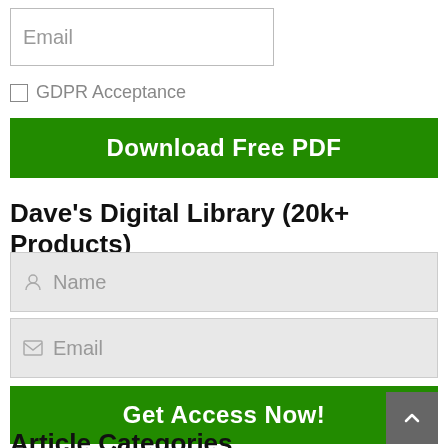Email
GDPR Acceptance
Download Free PDF
Dave's Digital Library (20k+ Products)
Name
Email
Get Access Now!
Article Categories